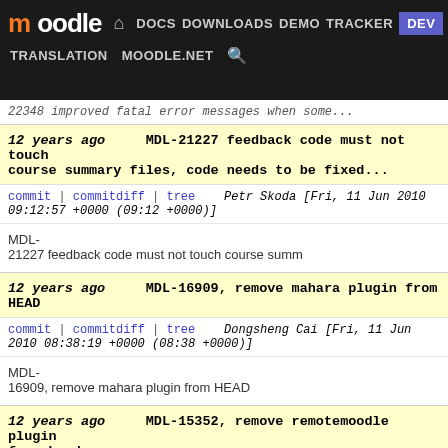moodle | DOCS | DOWNLOADS | DEMO | TRACKER | DEV | TRANSLATION | MOODLE.NET | search
22348 improved fatal error messages when some...
12 years ago   MDL-21227 feedback code must not touch course summary files, code needs to be fixed...
commit | commitdiff | tree   Petr Skoda [Fri, 11 Jun 2010 09:12:57 +0000 (09:12 +0000)]
MDL-21227 feedback code must not touch course summ
12 years ago   MDL-16909, remove mahara plugin from HEAD
commit | commitdiff | tree   Dongsheng Cai [Fri, 11 Jun 2010 08:38:19 +0000 (08:38 +0000)]
MDL-16909, remove mahara plugin from HEAD
12 years ago   MDL-15352, remove remotemoodle plugin from head
commit | commitdiff | tree   Dongsheng Cai [Fri, 11 Jun 2010